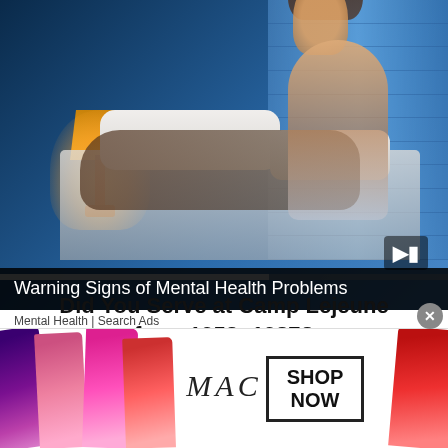[Figure (photo): Video thumbnail showing a couple in bed. A man lies sleeping while a woman sits up looking distressed, in a dimly lit bedroom with blue blinds and a warm bedside lamp. A progress bar and play button are visible.]
Warning Signs of Mental Health Problems
Mental Health | Search Ads
»
Did You Serve at Camp Lejeune from 1953- 1987?
[Figure (photo): MAC cosmetics advertisement banner showing lipsticks on the left and right, MAC logo in cursive italic in the center, and a SHOP NOW box. A close X button is visible.]